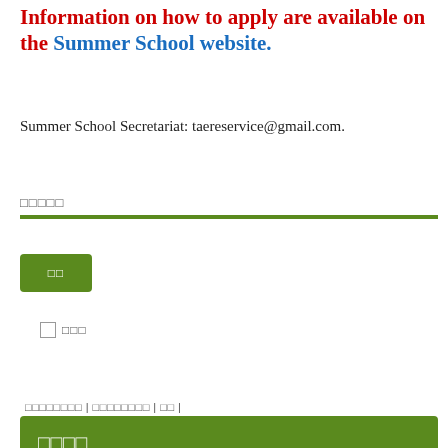Information on how to apply are available on the Summer School website.
Summer School Secretariat: taereservice@gmail.com.
□□□□□
[Figure (other): Web form UI with two text input fields, a checkbox with label, a green submit button, and footer links]
□□□□□□□□ | □□□□□□□□ | □□ |
□□□□
□□□□□□□□